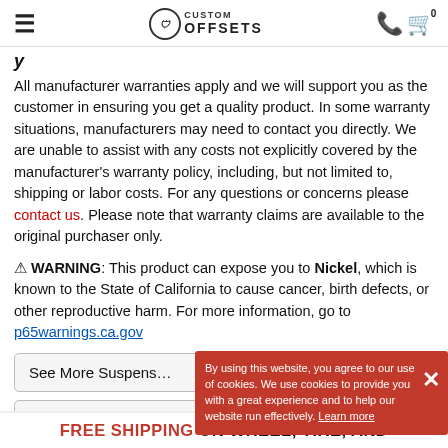Custom Offsets
All manufacturer warranties apply and we will support you as the customer in ensuring you get a quality product. In some warranty situations, manufacturers may need to contact you directly. We are unable to assist with any costs not explicitly covered by the manufacturer's warranty policy, including, but not limited to, shipping or labor costs. For any questions or concerns please contact us. Please note that warranty claims are available to the original purchaser only.
⚠ WARNING: This product can expose you to Nickel, which is known to the State of California to cause cancer, birth defects, or other reproductive harm. For more information, go to p65warnings.ca.gov
See More Suspension
See all Store Items
Wholesale Program
By using this website, you agree to our use of cookies. We use cookies to provide you with a great experience and to help our website run effectively. Learn more
FREE SHIPPING ON WHEEL, TIRE, AND